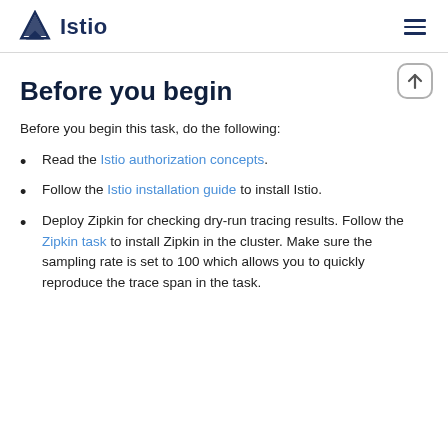Istio
Before you begin
Before you begin this task, do the following:
Read the Istio authorization concepts.
Follow the Istio installation guide to install Istio.
Deploy Zipkin for checking dry-run tracing results. Follow the Zipkin task to install Zipkin in the cluster. Make sure the sampling rate is set to 100 which allows you to quickly reproduce the trace span in the task.